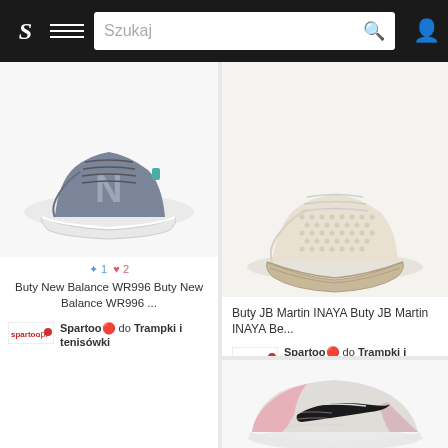[Figure (screenshot): Mobile app navigation bar with logo S, hamburger menu, Szukaj search bar with magnifier icon, and user profile icon on dark background]
[Figure (photo): New Balance WR996 grey suede sneaker on white background]
+1 ♥ 2
Buty New Balance WR996 Buty New Balance WR996 ...
Spartoo🔴 do Trampki i tenisówki
[Figure (photo): JB Martin INAYA beige studded leather sneaker espadrille on white background]
Buty JB Martin INAYA Buty JB Martin INAYA Be...
Spartoo🔴 do Trampki i tenisówki
[Figure (photo): Nike pink and grey running shoe (Downshifter style) on white background]